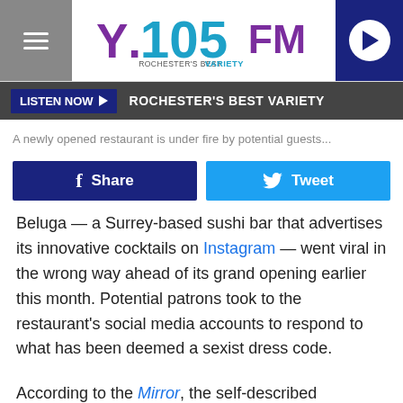Y.105FM ROCHESTER'S BEST VARIETY
LISTEN NOW ▶   ROCHESTER'S BEST VARIETY
A newly opened restaurant is under fire by potential guests...
Share   Tweet
Beluga — a Surrey-based sushi bar that advertises its innovative cocktails on Instagram — went viral in the wrong way ahead of its grand opening earlier this month. Potential patrons took to the restaurant's social media accounts to respond to what has been deemed a sexist dress code.
According to the Mirror, the self-described "selective" and